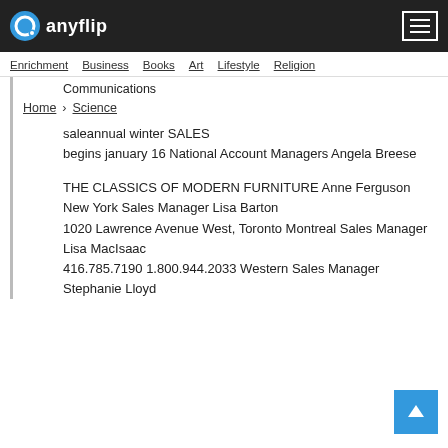anyflip
Enrichment  Business  Books  Art  Lifestyle  Religion
Communications
Home  Science
saleannual winter SALES begins january 16 National Account Managers Angela Breese
THE CLASSICS OF MODERN FURNITURE Anne Ferguson New York Sales Manager Lisa Barton 1020 Lawrence Avenue West, Toronto Montreal Sales Manager Lisa MacIsaac 416.785.7190 1.800.944.2033 Western Sales Manager Stephanie Lloyd